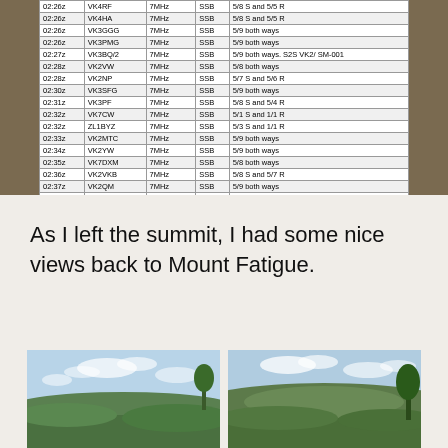| Time | Callsign | Freq | Mode | Report |
| --- | --- | --- | --- | --- |
| 02:26z | VK4RF | 7MHz | SSB | 5/8 S and 5/5 R |
| 02:26z | VK4HA | 7MHz | SSB | 5/8 S and 5/5 R |
| 02:26z | VK3GGG | 7MHz | SSB | 5/9 both ways |
| 02:26z | VK3PMG | 7MHz | SSB | 5/9 both ways |
| 02:27z | VK3BQ/2 | 7MHz | SSB | 5/9 both ways. S2S VK2/ SM-001 |
| 02:28z | VK2VW | 7MHz | SSB | 5/8 both ways |
| 02:28z | VK2NP | 7MHz | SSB | 5/7 S and 5/6 R |
| 02:30z | VK3SFG | 7MHz | SSB | 5/9 both ways |
| 02:31z | VK3PF | 7MHz | SSB | 5/8 S and 5/4 R |
| 02:32z | VK7CW | 7MHz | SSB | 5/1 S and 1/1 R |
| 02:32z | ZL1BYZ | 7MHz | SSB | 5/3 S and 1/1 R |
| 02:33z | VK2MTC | 7MHz | SSB | 5/9 both ways |
| 02:34z | VK2YW | 7MHz | SSB | 5/9 both ways |
| 02:35z | VK7DXM | 7MHz | SSB | 5/8 both ways |
| 02:36z | VK2VKB | 7MHz | SSB | 5/8 S and 5/7 R |
| 02:37z | VK2QM | 7MHz | SSB | 5/9 both ways |
| 02:38z | VK5HS | 7MHz | SSB | 5/8 S and 5/7 R |
| 02:39z | VK7RM | 7MHz | SSB | 5/9 S and 5/8 R |
| 02:41z | VK7FRJG | 7MHz | SSB | 5/9 both ways |
| 02:49z | VK2QR/P | 7MHz | SSB | 5/9 both ways. S2S VK2/ SM-021 |
| 02:51z | VK2MTC | 3.5MHz | SSB | 5/8 both ways |
| 02:54z | VK3SQ | 3.5MHz | SSB | 5/8 S and 5/6 R |
| 03:03z | VK3SFG | 14MHz | SSB | 5/8 S and 5/9 R |
As I left the summit, I had some nice views back to Mount Fatigue.
[Figure (photo): Landscape photo showing hills and sky with clouds, view from summit area]
[Figure (photo): Landscape photo showing Mount Fatigue with green hills and blue sky]